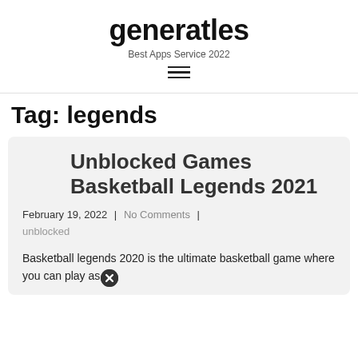generatles
Best Apps Service 2022
Tag: legends
Unblocked Games Basketball Legends 2021
February 19, 2022 | No Comments | unblocked
Basketball legends 2020 is the ultimate basketball game where you can play as